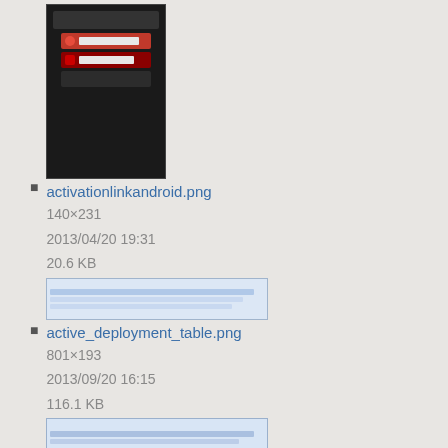activationlinkandroid.png
140×231
2013/04/20 19:31
20.6 KB
active_deployment_table.png
801×193
2013/09/20 16:15
116.1 KB
active_deploymenta.png
1655×279
2013/10/28 16:13
33.2 KB
add_admin1.png